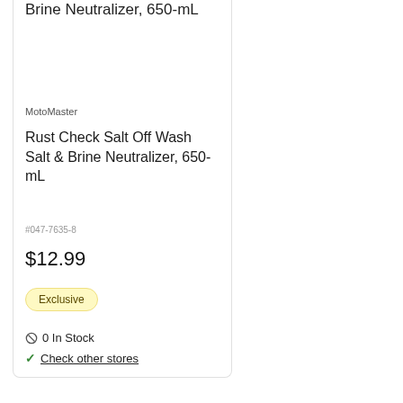Brine Neutralizer, 650-mL
MotoMaster
Rust Check Salt Off Wash Salt & Brine Neutralizer, 650-mL
#047-7635-8
$12.99
Exclusive
0 In Stock
Check other stores